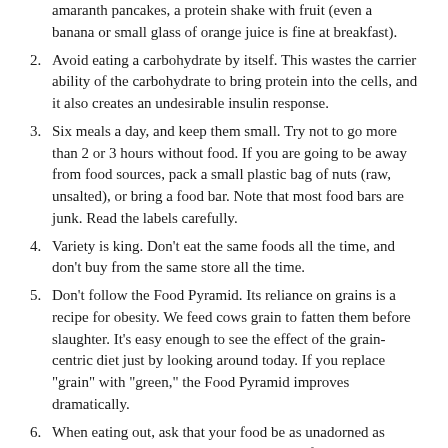amaranth pancakes, a protein shake with fruit (even a banana or small glass of orange juice is fine at breakfast).
2. Avoid eating a carbohydrate by itself. This wastes the carrier ability of the carbohydrate to bring protein into the cells, and it also creates an undesirable insulin response.
3. Six meals a day, and keep them small. Try not to go more than 2 or 3 hours without food. If you are going to be away from food sources, pack a small plastic bag of nuts (raw, unsalted), or bring a food bar. Note that most food bars are junk. Read the labels carefully.
4. Variety is king. Don’t eat the same foods all the time, and don’t buy from the same store all the time.
5. Don’t follow the Food Pyramid. Its reliance on grains is a recipe for obesity. We feed cows grain to fatten them before slaughter. It’s easy enough to see the effect of the grain-centric diet just by looking around today. If you replace "grain" with "green," the Food Pyramid improves dramatically.
6. When eating out, ask that your food be as unadorned as possible. No sauces, creams, or breading. If you make a habit of this, you will learn to enjoy the taste of food, rather than the taste of hydrogenated oils and sugar.
Mechanical Support
Do note, you have connective tissue involved here--so, provide